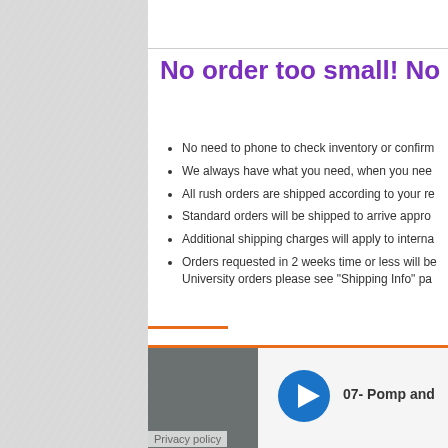No order too small! No m...
No need to phone to check inventory or confirm...
We always have what you need, when you nee...
All rush orders are shipped according to your re...
Standard orders will be shipped to arrive appro...
Additional shipping charges will apply to interna...
Orders requested in 2 weeks time or less will be... University orders please see "Shipping Info" pa...
HOME   FAQ   CONTACT US   SITEMAP
Copyright © 2022 Graduate Affairs. Web Design by...
[Figure (screenshot): Bottom media player bar with thumbnail, play button and track title '07- Pomp and...']